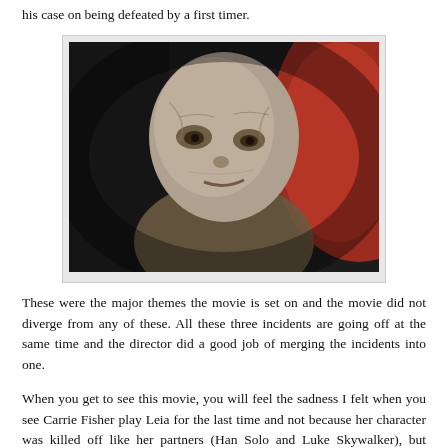his case on being defeated by a first timer.
[Figure (photo): Close-up movie still of a pale, aged alien/villain character with heavily wrinkled skin and a sinister expression, against a dark background with red visible on the right side. Appears to be Supreme Leader Snoke from Star Wars.]
These were the major themes the movie is set on and the movie did not diverge from any of these. All these three incidents are going off at the same time and the director did a good job of merging the incidents into one.
When you get to see this movie, you will feel the sadness I felt when you see Carrie Fisher play Leia for the last time and not because her character was killed off like her partners (Han Solo and Luke Skywalker), but because death took her from us.
She passed on and this movie was released Posthumous